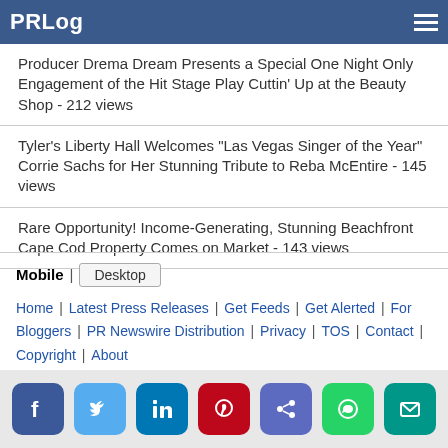PRLog
Producer Drema Dream Presents a Special One Night Only Engagement of the Hit Stage Play Cuttin' Up at the Beauty Shop - 212 views
Tyler's Liberty Hall Welcomes "Las Vegas Singer of the Year" Corrie Sachs for Her Stunning Tribute to Reba McEntire - 145 views
Rare Opportunity! Income-Generating, Stunning Beachfront Cape Cod Property Comes on Market - 143 views
Mobile | Desktop
Home | Latest Press Releases | Get Feeds | Get Alerted | For Bloggers | PR Newswire Distribution | Privacy | TOS | Contact | Copyright | About